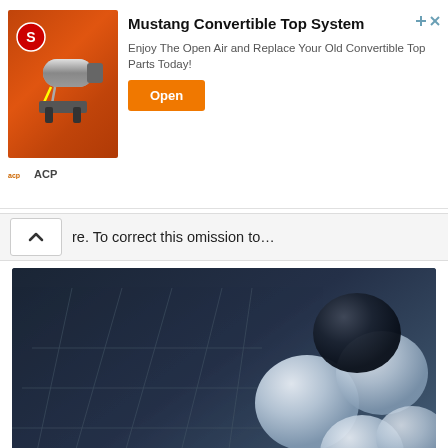[Figure (other): Advertisement banner for Mustang Convertible Top System by ACP, showing a convertible top motor/pump product image on an orange background, with an orange Open button and close/arrow icons.]
re. To correct this omission to…
[Figure (photo): Close-up photo of a Go board with black and white stones placed on intersections, dark blue-grey tones.]
Game ended: AlphaGo will be engaged in solving real world problems
last month, the humanity lost an important battle with artificial